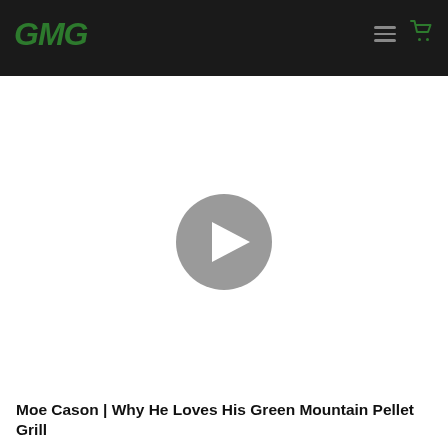GMG
[Figure (screenshot): Video player area with a gray circular play button centered on white background]
Moe Cason | Why He Loves His Green Mountain Pellet Grill